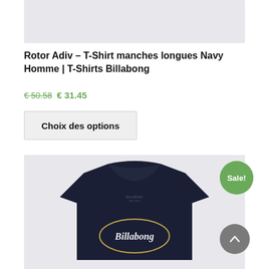[Figure (photo): Top portion of a product photo with light grey background]
Rotor Adiv – T-Shirt manches longues Navy Homme | T-Shirts Billabong
€50.58 € 31.45
Choix des options
[Figure (photo): Navy Billabong t-shirt with oval logo on a light grey background, with a green Sale! badge in top right corner and a grey scroll-to-top button in bottom right]